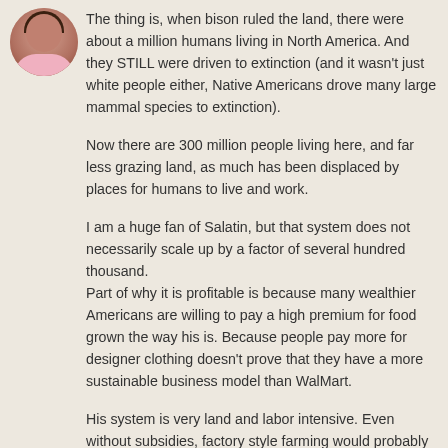[Figure (illustration): Circular avatar portrait of a person with dark hair wearing a pink top, shown from shoulders up]
The thing is, when bison ruled the land, there were about a million humans living in North America. And they STILL were driven to extinction (and it wasn't just white people either, Native Americans drove many large mammal species to extinction).
Now there are 300 million people living here, and far less grazing land, as much has been displaced by places for humans to live and work.
I am a huge fan of Salatin, but that system does not necessarily scale up by a factor of several hundred thousand.
Part of why it is profitable is because many wealthier Americans are willing to pay a high premium for food grown the way his is. Because people pay more for designer clothing doesn't prove that they have a more sustainable business model than WalMart.
His system is very land and labor intensive. Even without subsidies, factory style farming would probably still be cheaper (from a purely economic stand point) – although, granted,